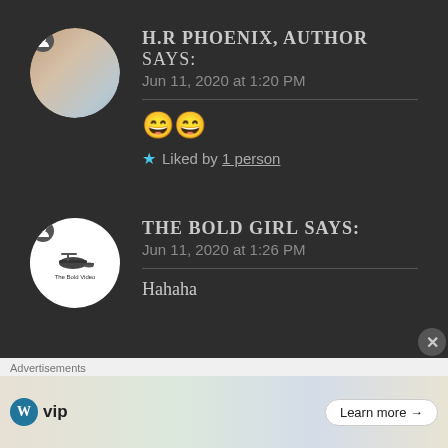[Figure (illustration): Circular avatar photo showing a hand holding a small animal, brownish tones]
H.R PHOENIX, AUTHOR says:
Jun 11, 2020 at 1:20 PM
😄😄
★ Liked by 1 person
[Figure (logo): Circular white avatar with helicopter and The Bold Video text]
THE BOLD GIRL says:
Jun 11, 2020 at 1:26 PM
Hahaha
Advertisements — WordPress VIP — Learn more →